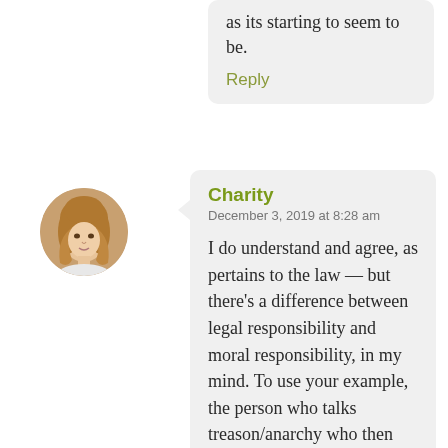as its starting to seem to be.
Reply
Charity
December 3, 2019 at 8:28 am
I do understand and agree, as pertains to the law — but there's a difference between legal responsibility and moral responsibility, in my mind. To use your example, the person who talks treason/anarchy who then inspires a bunch of young